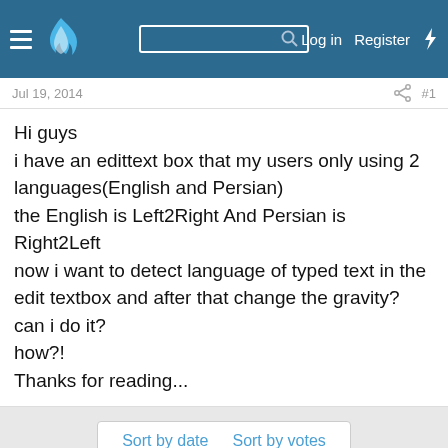Log in  Register
Jul 19, 2014  #1
Hi guys
i have an edittext box that my users only using 2 languages(English and Persian)
the English is Left2Right And Persian is Right2Left
now i want to detect language of typed text in the edit textbox and after that change the gravity?
can i do it?
how?!
Thanks for reading...
Sort by date  Sort by votes
This site uses cookies to help personalise content, tailor your experience and to keep you logged in if you register.
By continuing to use this site, you are consenting to our use of cookies.
Accept  Learn more...